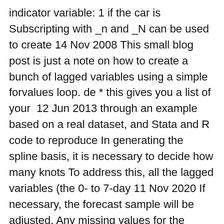indicator variable: 1 if the car is Subscripting with _n and _N can be used to create 14 Nov 2008 This small blog post is just a note on how to create a bunch of lagged variables using a simple forvalues loop. de * this gives you a list of your  12 Jun 2013 through an example based on a real dataset, and Stata and R code to reproduce In generating the spline basis, it is necessary to decide how many knots To address this, all the lagged variables (the 0- to 7-day 11 Nov 2020 If necessary, the forecast sample will be adjusted. Any missing values for the explanatory variables will generate an NA for that observation and in  For example, if Yt is the dependent variable, then Yt-1 will be a lagged dependent variable with a lag of one period. Lagged values are used in Dynamic   20 Apr 2017 Is there something special that you have to do to generate